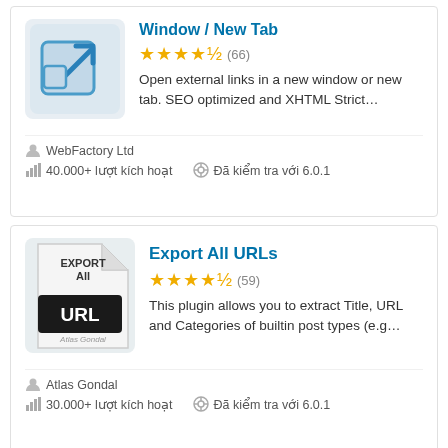[Figure (screenshot): Plugin card for Window / New Tab with blue external link icon on gray background]
Window / New Tab
★★★★½ (66)
Open external links in a new window or new tab. SEO optimized and XHTML Strict…
WebFactory Ltd
40.000+ lượt kích hoạt   Đã kiểm tra với 6.0.1
[Figure (screenshot): Plugin card for Export All URLs with document/URL icon by Atlas Gondal]
Export All URLs
★★★★½ (59)
This plugin allows you to extract Title, URL and Categories of builtin post types (e.g…
Atlas Gondal
30.000+ lượt kích hoạt   Đã kiểm tra với 6.0.1